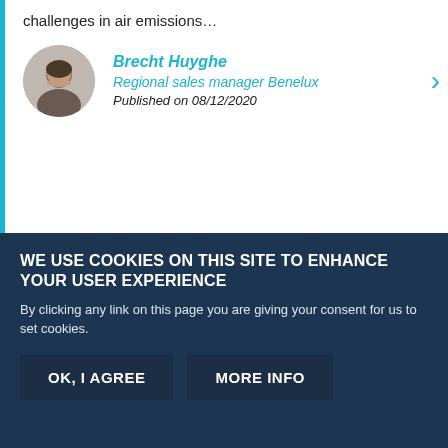challenges in air emissions…
Brecht Huyghe
Regional sales manager Benelux
Published on 08/12/2020
4 TYPICAL QUESTIONS ABOUT PROTECTING YOUR FILTERS IN ICY WEATHER
WE USE COOKIES ON THIS SITE TO ENHANCE YOUR USER EXPERIENCE
By clicking any link on this page you are giving your consent for us to set cookies.
OK, I AGREE
MORE INFO